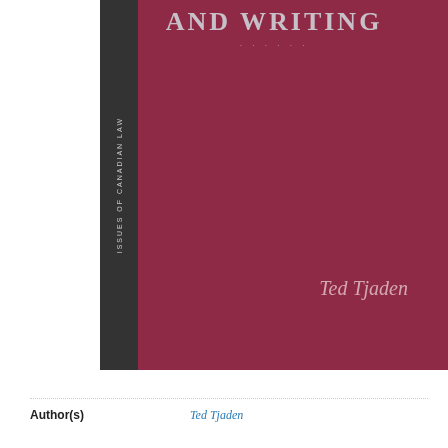[Figure (illustration): Book cover with dark crimson/maroon background. Top portion shows partial title text 'AND WRITING' in large silver/gray uppercase letters with subtitle text below. A dark gray vertical spine on the left side reads 'ISSUES OF CANADIAN LAW' in small rotated text. Author name 'Ted Tjaden' appears in italic script in the lower right area of the cover.]
Author(s)
Ted Tjaden